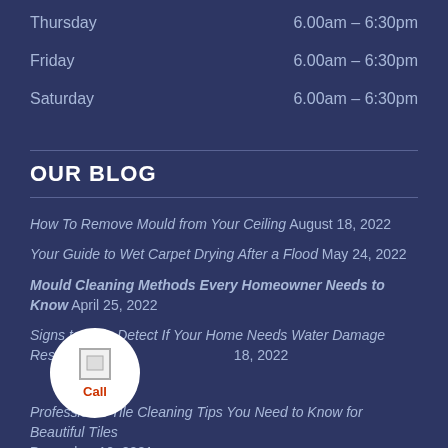Thursday    6.00am – 6:30pm
Friday    6.00am – 6:30pm
Saturday    6.00am – 6:30pm
OUR BLOG
How To Remove Mould from Your Ceiling August 18, 2022
Your Guide to Wet Carpet Drying After a Flood May 24, 2022
Mould Cleaning Methods Every Homeowner Needs to Know April 25, 2022
Signs to Help Detect If Your Home Needs Water Damage Restoration 18, 2022
Professional Tile Cleaning Tips You Need to Know for Beautiful Tiles December 10, 2021